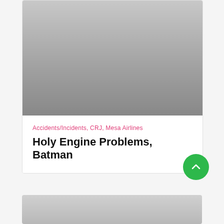[Figure (photo): Gray gradient image placeholder at top of article card]
Accidents/Incidents, CRJ, Mesa Airlines
Holy Engine Problems, Batman
[Figure (other): Green circular scroll-to-top button with upward chevron arrow]
[Figure (photo): Gray gradient image placeholder at bottom of page, partially visible]